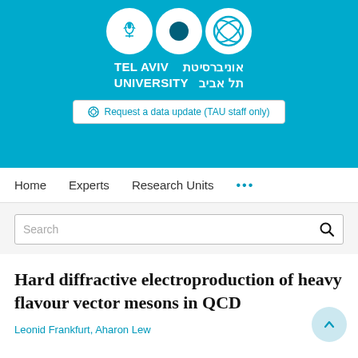[Figure (logo): Tel Aviv University logo with three circles (leaf emblem, solid circle, spiral circle) and text 'TEL AVIV UNIVERSITY' in English and Hebrew (אוניברסיטת תל אביב) on a blue background]
Request a data update (TAU staff only)
Home   Experts   Research Units   ...
Search
Hard diffractive electroproduction of heavy flavour vector mesons in QCD
Leonid Frankfurt, Aharon Lew